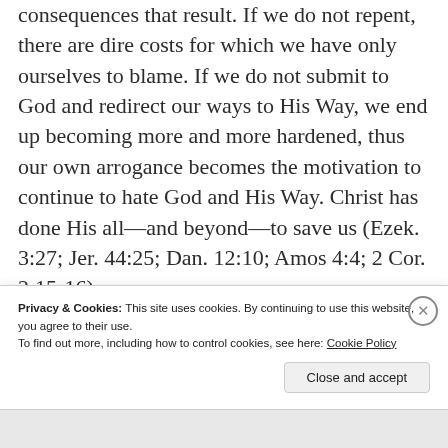consequences that result. If we do not repent, there are dire costs for which we have only ourselves to blame. If we do not submit to God and redirect our ways to His Way, we end up becoming more and more hardened, thus our own arrogance becomes the motivation to continue to hate God and His Way. Christ has done His all—and beyond—to save us (Ezek. 3:27; Jer. 44:25; Dan. 12:10; Amos 4:4; 2 Cor. 2:15-16).
Privacy & Cookies: This site uses cookies. By continuing to use this website, you agree to their use.
To find out more, including how to control cookies, see here: Cookie Policy